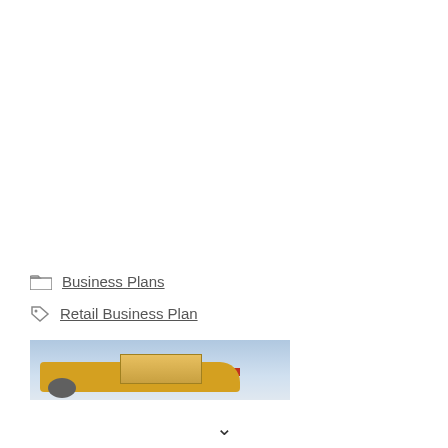Business Plans
Retail Business Plan
[Figure (photo): Banner advertisement showing a cargo aircraft being loaded at an airport, with text overlay saying 'WITHOUT REGARD TO POLITICS, RELIGION OR ABILITY TO PAY']